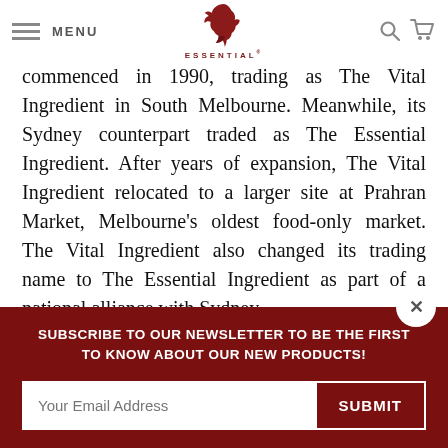MENU | ESSENTIAL (logo) | search | cart
commenced in 1990, trading as The Vital Ingredient in South Melbourne. Meanwhile, its Sydney counterpart traded as The Essential Ingredient. After years of expansion, The Vital Ingredient relocated to a larger site at Prahran Market, Melbourne's oldest food-only market. The Vital Ingredient also changed its trading name to The Essential Ingredient as part of a national alliance with Sydney.
SUBSCRIBE TO OUR NEWSLETTER TO BE THE FIRST TO KNOW ABOUT OUR NEW PRODUCTS!
Your Email Address
SUBMIT